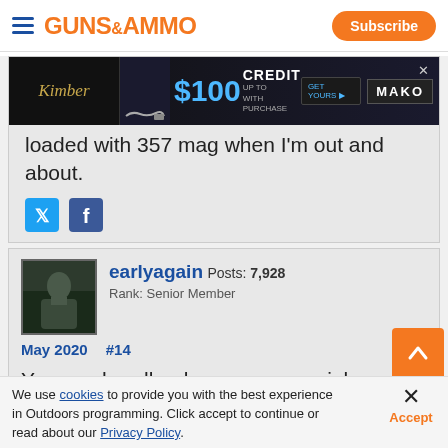GUNS & AMMO — Subscribe
[Figure (screenshot): Kimber advertisement banner: $100 CREDIT WITH PURCHASE — MAKO]
loaded with 357 mag when I'm out and about.
[Figure (other): Twitter and Facebook social share icons]
earlyagain Posts: 7,928 Rank: Senior Member
May 2020    #14
Yea, my handloads are commercial
We use cookies to provide you with the best experience in Outdoors programming. Click accept to continue or read about our Privacy Policy.